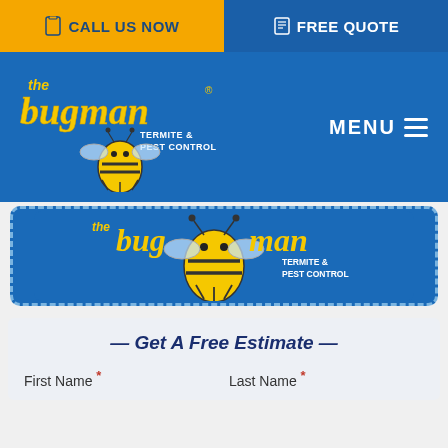CALL US NOW | FREE QUOTE
[Figure (logo): The Bug Man Termite & Pest Control logo with bee mascot on blue header bar with MENU navigation]
[Figure (logo): The Bug Man Termite & Pest Control logo repeated inside a dashed-border coupon box on blue background]
— Get A Free Estimate —
First Name * Last Name *